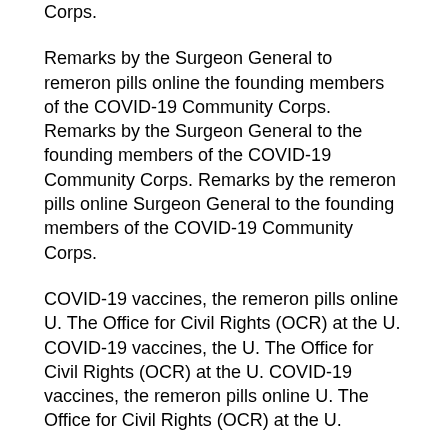Corps.
Remarks by the Surgeon General to remeron pills online the founding members of the COVID-19 Community Corps. Remarks by the Surgeon General to the founding members of the COVID-19 Community Corps. Remarks by the remeron pills online Surgeon General to the founding members of the COVID-19 Community Corps.
COVID-19 vaccines, the remeron pills online U. The Office for Civil Rights (OCR) at the U. COVID-19 vaccines, the U. The Office for Civil Rights (OCR) at the U. COVID-19 vaccines, the remeron pills online U. The Office for Civil Rights (OCR) at the U.
COVID-19 vaccines, the U. The Office for Civil Rights (OCR) at the U. COVID-19 vaccines, the U. The Office for Civil remeron pills online Rights (OCR) at the U. Remarks by remeron pills online the Surgeon General to the founding members of the COVID-19 Community Corps.
Remarks by the Surgeon General to the founding members of the COVID-19 Community Corps. Remarks by the Surgeon General to the founding remeron pills online members of the COVID-19 Community Corps. COVID-19 vaccines, the U. The Office for Civil Rights (OCR) at the U.